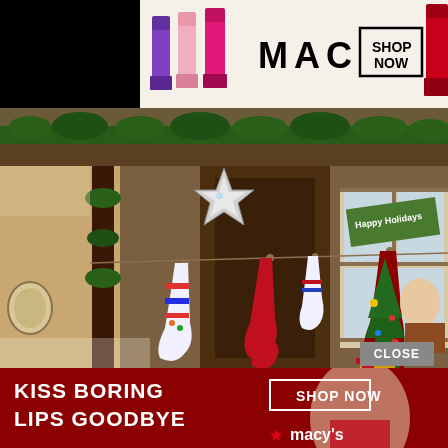[Figure (photo): Christmas holiday scene showing a rustic wooden interior decorated with greenery garlands, hanging Christmas stockings on a string, a black and white star ornament, and a 'Happy Holidays' sign. A Christmas tree with gifts is visible on the right side.]
[Figure (advertisement): MAC cosmetics banner ad showing three lipsticks (purple, light pink, bright pink) and one red lipstick on the right, with MAC logo and 'SHOP NOW' box on cream background.]
[Figure (advertisement): Macy's advertisement banner with dark red background. Shows a woman's face with red lips. Text reads 'KISS BORING LIPS GOODBYE' with 'SHOP NOW' button and Macy's star logo.]
CLOSE
KISS BORING LIPS GOODBYE
SHOP NOW
macy's